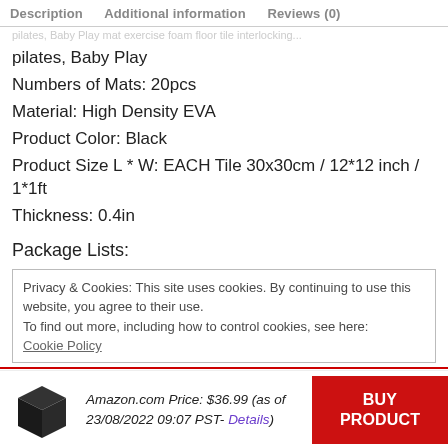Description   Additional information   Reviews (0)
pilates, Baby Play
Numbers of Mats: 20pcs
Material: High Density EVA
Product Color: Black
Product Size L * W: EACH Tile 30x30cm / 12*12 inch / 1*1ft
Thickness: 0.4in
Package Lists:
Privacy & Cookies: This site uses cookies. By continuing to use this website, you agree to their use.
To find out more, including how to control cookies, see here:
Cookie Policy
Amazon.com Price: $36.99 (as of 23/08/2022 09:07 PST- Details)
BUY PRODUCT